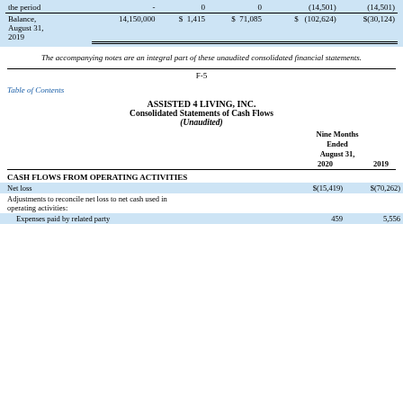|  | Shares | $ | APIC $ | Accumulated Deficit $ | Total $ |
| --- | --- | --- | --- | --- | --- |
| the period | - | 0 | 0 | (14,501) | (14,501) |
| Balance, August 31, 2019 | 14,150,000 | $ 1,415 | $ 71,085 | $ (102,624) | $(30,124) |
The accompanying notes are an integral part of these unaudited consolidated financial statements.
F-5
Table of Contents
ASSISTED 4 LIVING, INC.
Consolidated Statements of Cash Flows
(Unaudited)
|  | Nine Months Ended August 31, 2020 | Nine Months Ended August 31, 2019 |
| --- | --- | --- |
| CASH FLOWS FROM OPERATING ACTIVITIES |  |  |
| Net loss | $(15,419) | $(70,262) |
| Adjustments to reconcile net loss to net cash used in operating activities: |  |  |
| Expenses paid by related party | 459 | 5,556 |